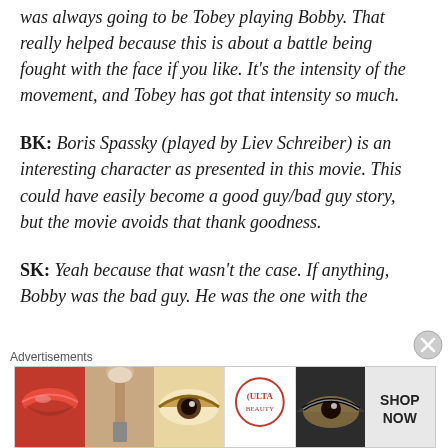was always going to be Tobey playing Bobby. That really helped because this is about a battle being fought with the face if you like. It's the intensity of the movement, and Tobey has got that intensity so much.
BK: Boris Spassky (played by Liev Schreiber) is an interesting character as presented in this movie. This could have easily become a good guy/bad guy story, but the movie avoids that thank goodness.
SK: Yeah because that wasn't the case. If anything, Bobby was the bad guy. He was the one with the
Advertisements
[Figure (photo): Advertisement banner for ULTA beauty showing close-up images of lips with red lipstick, a makeup brush, an eye with makeup, the ULTA Beauty logo, an eye with dramatic makeup, and text reading SHOP NOW]